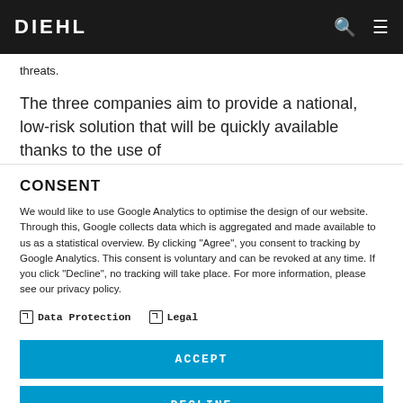DIEHL
threats.
The three companies aim to provide a national, low-risk solution that will be quickly available thanks to the use of
CONSENT
We would like to use Google Analytics to optimise the design of our website. Through this, Google collects data which is aggregated and made available to us as a statistical overview. By clicking "Agree", you consent to tracking by Google Analytics. This consent is voluntary and can be revoked at any time. If you click "Decline", no tracking will take place. For more information, please see our privacy policy.
Data Protection   Legal
ACCEPT
DECLINE